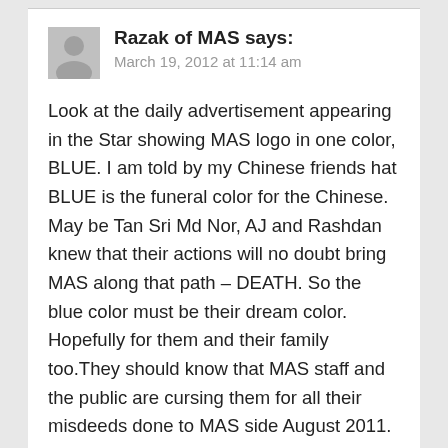Razak of MAS says:
March 19, 2012 at 11:14 am
Look at the daily advertisement appearing in the Star showing MAS logo in one color, BLUE. I am told by my Chinese friends hat BLUE is the funeral color for the Chinese. May be Tan Sri Md Nor, AJ and Rashdan knew that their actions will no doubt bring MAS along that path – DEATH. So the blue color must be their dream color. Hopefully for them and their family too.They should know that MAS staff and the public are cursing them for all their misdeeds done to MAS side August 2011.